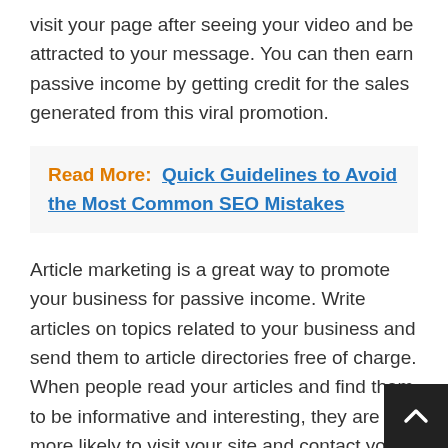visit your page after seeing your video and be attracted to your message. You can then earn passive income by getting credit for the sales generated from this viral promotion.
Read More:  Quick Guidelines to Avoid the Most Common SEO Mistakes
Article marketing is a great way to promote your business for passive income. Write articles on topics related to your business and send them to article directories free of charge. When people read your articles and find them to be informative and interesting, they are more likely to visit your site and contact you.
Advertise on various websites in the hopes that your will attract buyers. Digital marketing offers a multitude of advertising options including pay per click, cost per